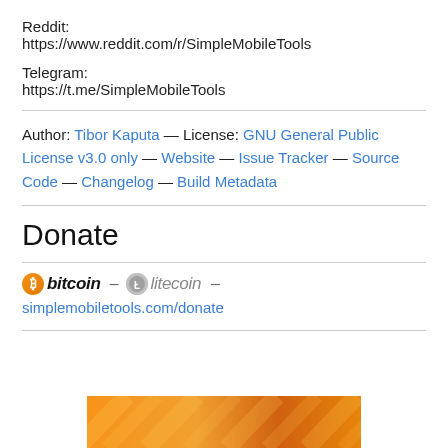Reddit:
https://www.reddit.com/r/SimpleMobileTools
Telegram:
https://t.me/SimpleMobileTools
Author: Tibor Kaputa — License: GNU General Public License v3.0 only — Website — Issue Tracker — Source Code — Changelog — Build Metadata
Donate
[Figure (logo): Bitcoin and Litecoin logos with dash separators and donate link: simplemobiletools.com/donate]
[Figure (photo): Orange diagonal striped banner at bottom of page]